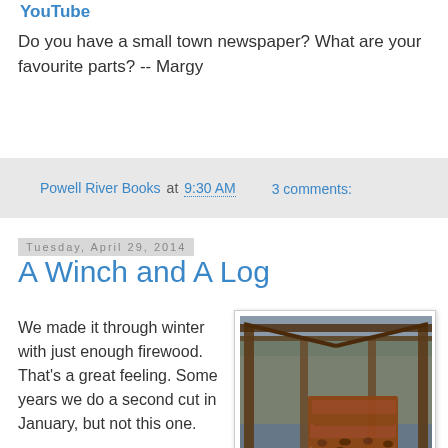YouTube
Do you have a small town newspaper? What are your favourite parts? -- Margy
Powell River Books at 9:30 AM    3 comments:
Tuesday, April 29, 2014
A Winch and A Log
We made it through winter with just enough firewood. That's a great feeling. Some years we do a second cut in January, but not this one.

Now we can start getting ready for next year. We save prospective logs in the water tied to our
[Figure (photo): Woodshed with stacked firewood logs under a wooden roof structure, water and rocky cliff visible in background, green tarp on right side]